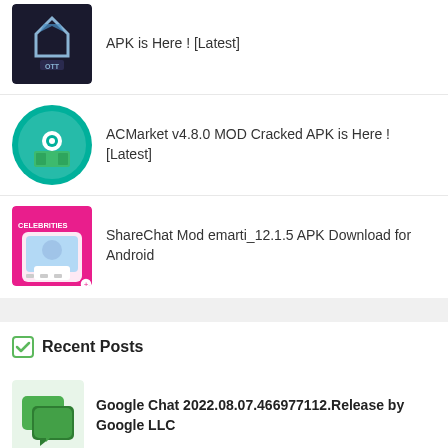APK is Here ! [Latest]
ACMarket v4.8.0 MOD Cracked APK is Here ! [Latest]
ShareChat Mod emarti_12.1.5 APK Download for Android
Recent Posts
Google Chat 2022.08.07.466977112.Release by Google LLC